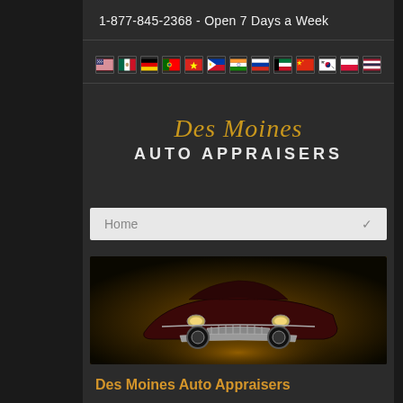1-877-845-2368 - Open 7 Days a Week
[Figure (infographic): Row of country flags for language selection: USA, Mexico, Germany, Portugal, Vietnam, Philippines, India, Russia, Kuwait/Arab, China, South Korea, Poland, Thailand]
[Figure (logo): Des Moines Auto Appraisers logo with script italic gold text 'Des Moines' above bold white sans-serif 'AUTO APPRAISERS']
Home
[Figure (photo): Dark vintage/custom car with chrome grille and headlights on a dark yellow/amber background]
Des Moines Auto Appraisers